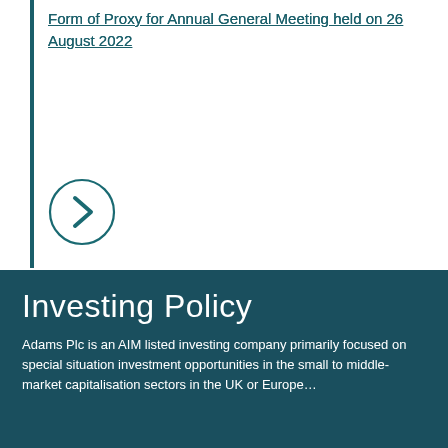Form of Proxy for Annual General Meeting held on 26 August 2022
[Figure (other): Teal circle with a right-pointing chevron arrow button]
Investing Policy
Adams Plc is an AIM listed investing company primarily focused on special situation investment opportunities in the small to middle-market capitalisation sectors in the UK or Europe…